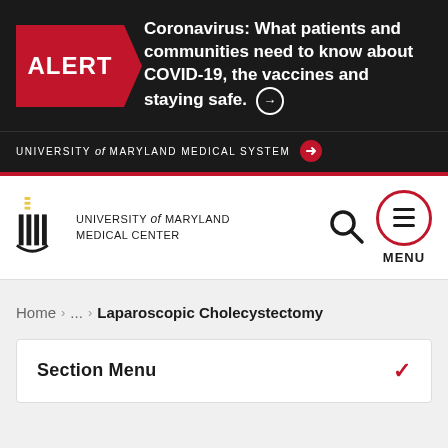[Figure (screenshot): Alert banner with red ALERT box and COVID-19 message: Coronavirus: What patients and communities need to know about COVID-19, the vaccines and staying safe.]
UNIVERSITY of MARYLAND MEDICAL SYSTEM →
[Figure (logo): University of Maryland Medical Center logo with columns icon and text]
Home > ... > Laparoscopic Cholecystectomy
Section Menu